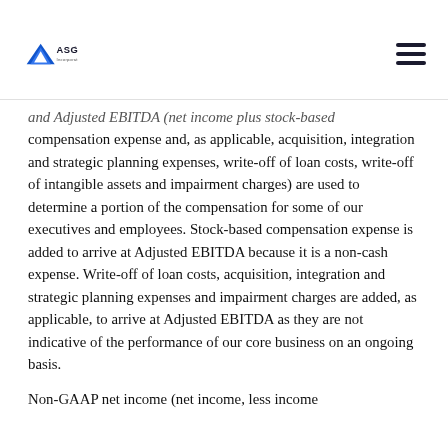ASGN Incorporated
and Adjusted EBITDA (net income plus stock-based compensation expense and, as applicable, acquisition, integration and strategic planning expenses, write-off of loan costs, write-off of intangible assets and impairment charges) are used to determine a portion of the compensation for some of our executives and employees. Stock-based compensation expense is added to arrive at Adjusted EBITDA because it is a non-cash expense. Write-off of loan costs, acquisition, integration and strategic planning expenses and impairment charges are added, as applicable, to arrive at Adjusted EBITDA as they are not indicative of the performance of our core business on an ongoing basis.
Non-GAAP net income (net income, less income